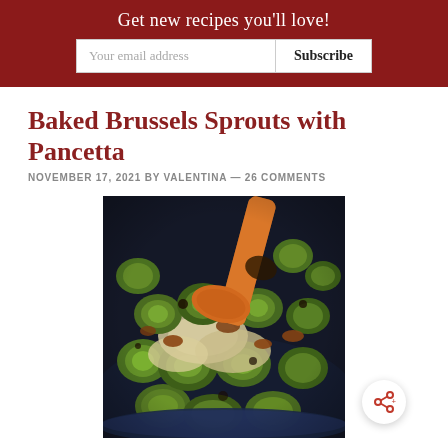Get new recipes you'll love!
Baked Brussels Sprouts with Pancetta
NOVEMBER 17, 2021 BY VALENTINA — 26 COMMENTS
[Figure (photo): Close-up photo of baked Brussels sprouts with pancetta in a dark pan, being served with an orange wooden spoon/spatula. The dish shows charred and cheesy Brussels sprouts with bits of pancetta.]